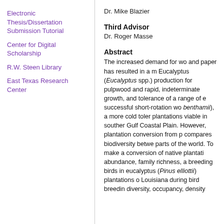Electronic Thesis/Dissertation Submission Tutorial
Center for Digital Scholarship
R.W. Steen Library
East Texas Research Center
Dr. Mike Blazier
Third Advisor
Dr. Roger Masse
Abstract
The increased demand for wo and paper has resulted in a m Eucalyptus (Eucalyptus spp.) production for pulpwood and rapid, indeterminate growth, and tolerance of a range of e successful short-rotation wo benthamii), a more cold toler plantations viable in souther Gulf Coastal Plain. However, plantation conversion from p compares biodiversity betwe parts of the world. To make a conversion of native plantati abundance, family richness, a breeding birds in eucalyptus (Pinus elliottii) plantations o Louisiana during bird breedin diversity, occupancy, density